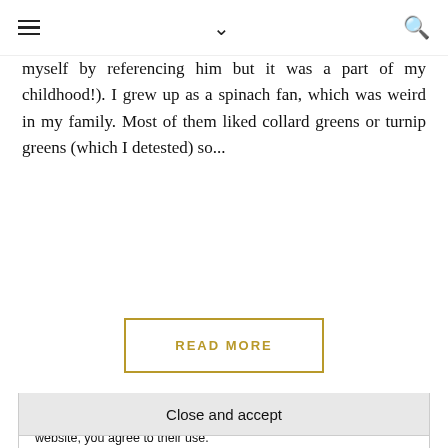≡  ∨  🔍
myself by referencing him but it was a part of my childhood!). I grew up as a spinach fan, which was weird in my family. Most of them liked collard greens or turnip greens (which I detested) so...
READ MORE
Dominique
Privacy & Cookies: This site uses cookies. By continuing to use this website, you agree to their use.
To find out more, including how to control cookies, see here: Cookie Policy
Close and accept